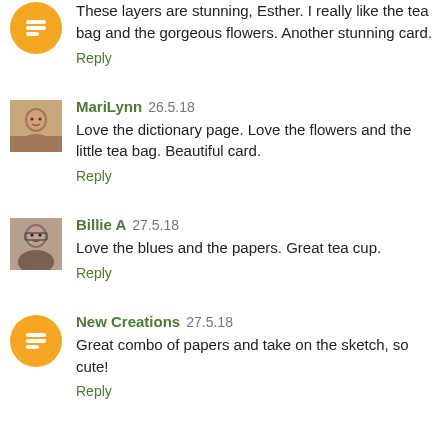These layers are stunning, Esther. I really like the tea bag and the gorgeous flowers. Another stunning card.
Reply
MariLynn 26.5.18
Love the dictionary page. Love the flowers and the little tea bag. Beautiful card.
Reply
Billie A 27.5.18
Love the blues and the papers. Great tea cup.
Reply
New Creations 27.5.18
Great combo of papers and take on the sketch, so cute!
Reply